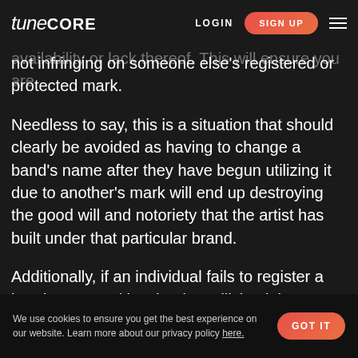TuneCORE — LOGIN | SIGN UP
potential barriers to your name and to determine the availability or lack thereof. This will ensure you are not infringing on someone else's registered or protected mark.
Needless to say, this is a situation that should clearly be avoided as having to change a band's name after they have begun utilizing it due to another's mark will end up destroying the good will and notoriety that the artist has built under that particular brand.
Additionally, if an individual fails to register a band name and just begins utilizing it in a specific area or state, the individual may be later forced to only advertise and utilize that mark only in that particular area or state rather than being able to utilize the
We use cookies to ensure you get the best experience on our website. Learn more about our privacy policy here. GOT IT